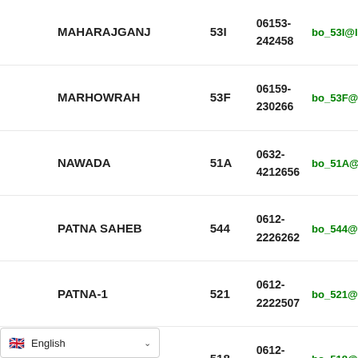| Name | Code | Phone | Email |
| --- | --- | --- | --- |
| MAHARAJGANJ | 53I | 06153-242458 | bo_53I@licindia.com |
| MARHOWRAH | 53F | 06159-230266 | bo_53F@licindia.com |
| NAWADA | 51A | 0632-4212656 | bo_51A@licindia.com |
| PATNA SAHEB | 544 | 0612-2226262 | bo_544@licindia.com |
| PATNA-1 | 521 | 0612-2222507 | bo_521@licindia.com |
| PATNA-2 | 518 | 0612-2226593 | bo_518@licindia.com |
English